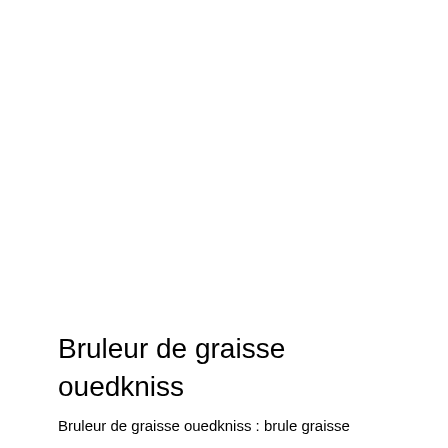Bruleur de graisse ouedkniss
Bruleur de graisse ouedkniss : brule graisse